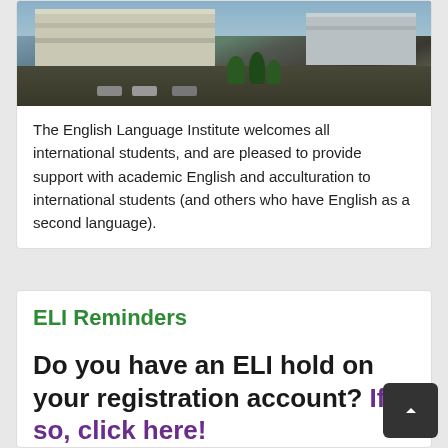[Figure (photo): Aerial or elevated view of a university campus with buildings and parking lot and palm trees]
The English Language Institute welcomes all international students, and are pleased to provide support with academic English and acculturation to international students (and others who have English as a second language).
ELI Reminders
Do you have an ELI hold on your registration account? If so, click here!
Check below for more info...